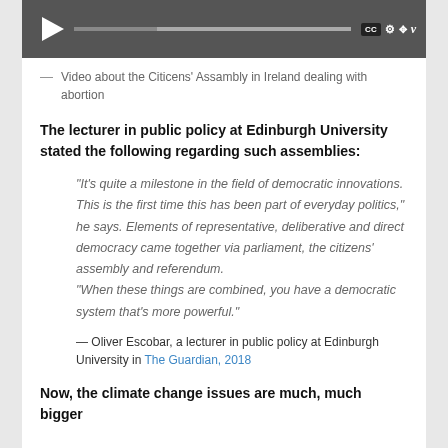[Figure (screenshot): Video player screenshot with play button, progress bar, CC button, settings gear, fullscreen and Vimeo controls on dark background]
— Video about the Citicens' Assambly in Ireland dealing with abortion
The lecturer in public policy at Edinburgh University stated the following regarding such assemblies:
“It’s quite a milestone in the field of democratic innovations. This is the first time this has been part of everyday politics,” he says. Elements of representative, deliberative and direct democracy came together via parliament, the citizens’ assembly and referendum. “When these things are combined, you have a democratic system that’s more powerful.”
— Oliver Escobar, a lecturer in public policy at Edinburgh University in The Guardian, 2018
Now, the climate change issues are much, much bigger